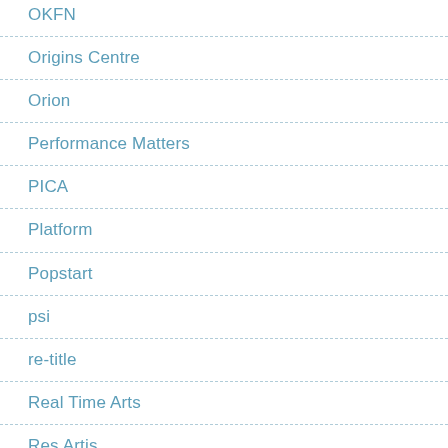OKFN
Origins Centre
Orion
Performance Matters
PICA
Platform
Popstart
psi
re-title
Real Time Arts
Res Artis